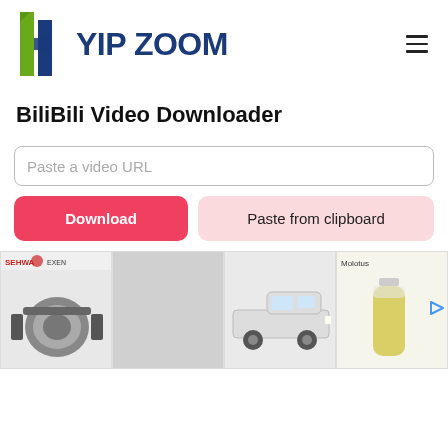[Figure (logo): HyipZoom logo with stylized H icon in green and blue, followed by text 'YIP ZOOM' in dark blue]
BiliBili Video Downloader
Paste a video URL
Download
Paste from clipboard
[Figure (photo): Advertisement banner row showing four ad images: industrial motor/vibrator, pickup truck, and a bottle of liquid (Molotus brand)]